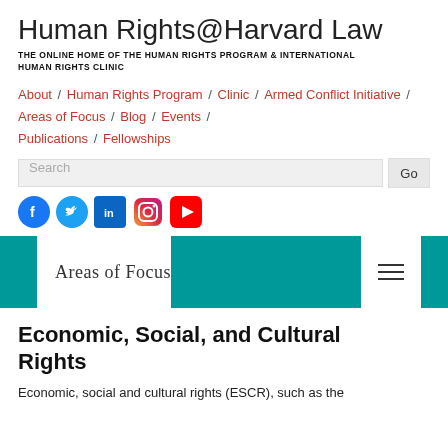Human Rights@Harvard Law
THE ONLINE HOME OF THE HUMAN RIGHTS PROGRAM & INTERNATIONAL HUMAN RIGHTS CLINIC
About / Human Rights Program / Clinic / Armed Conflict Initiative / Areas of Focus / Blog / Events / Publications / Fellowships
[Figure (screenshot): Search bar with text input field and Go button]
[Figure (infographic): Social media icons: Facebook, Twitter, LinkedIn, Instagram, YouTube]
[Figure (infographic): Areas of Focus banner with teal color blocks and hamburger menu icon]
Economic, Social, and Cultural Rights
Economic, social and cultural rights (ESCR), such as the